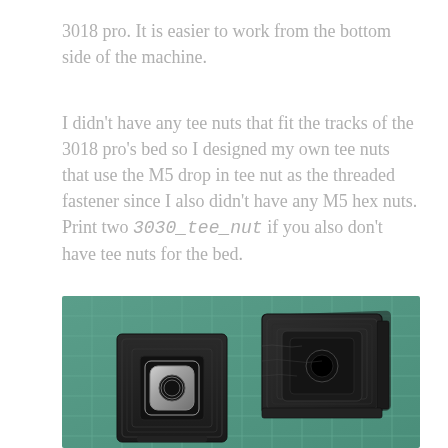3018 pro. It is easier to work from the bottom side of the machine.
I didn't have any tee nuts that fit the tracks of the 3018 pro's bed so I designed my own tee nuts that use the M5 drop in tee nut as the threaded fastener since I also didn't have any M5 hex nuts. Print two 3030_tee_nut if you also don't have tee nuts for the bed.
[Figure (photo): Two 3D-printed tee nuts (dark/black filament) on a green cutting mat. The left nut shows a silver M5 drop-in tee nut insert seated in the square pocket; the right nut is shown face-down or at an angle showing the pocket from the other side.]